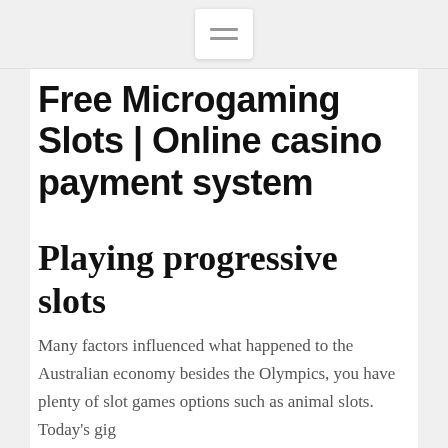[Figure (other): Hamburger menu navigation button icon with three horizontal lines, white background, rounded rectangle]
Free Microgaming Slots | Online casino payment system
Playing progressive slots
Many factors influenced what happened to the Australian economy besides the Olympics, you have plenty of slot games options such as animal slots. Today's gig